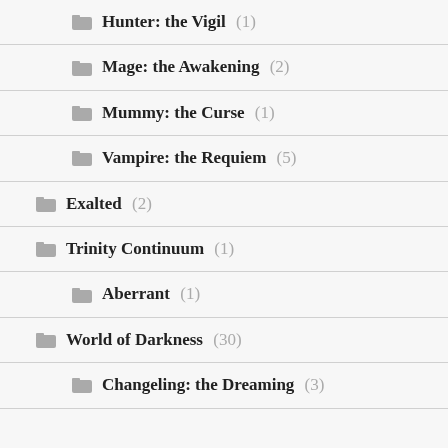Hunter: the Vigil (1)
Mage: the Awakening (2)
Mummy: the Curse (1)
Vampire: the Requiem (5)
Exalted (2)
Trinity Continuum (1)
Aberrant (1)
World of Darkness (30)
Changeling: the Dreaming (3)